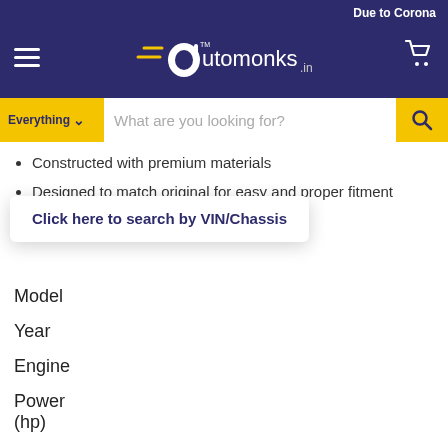Due to Corona
[Figure (logo): Automonks.in logo with hamburger menu and cart icon on dark purple navigation bar]
[Figure (screenshot): Search bar with Everything dropdown and search input placeholder 'What are you looking for?']
Constructed with premium materials
Designed to match original for easy and proper fitment
Click here to search by VIN/Chassis
Model
Year
Engine
Power (hp)
Fuel type